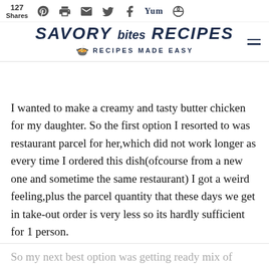127 Shares — SAVORY BITES RECIPES — RECIPES MADE EASY
I wanted to make a creamy and tasty butter chicken for my daughter. So the first option I resorted to was restaurant parcel for her,which did not work longer as every time I ordered this dish(ofcourse from a new one and sometime the same restaurant) I got a weird feeling,plus the parcel quantity that these days we get in take-out order is very less so its hardly sufficient for 1 person.
So my next best option was getting ready mix of